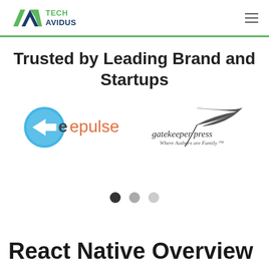Tech Avidus
Trusted by Leading Brand and Startups
[Figure (logo): epulse logo — blue circle with white arrow and orange 'epulse' text]
[Figure (logo): Gatekeeper Press logo — quill pen illustration with 'gatekeeper press' and tagline 'Where Authors are Family']
[Figure (other): Carousel pagination dots: three circles, first filled dark, second medium gray, third light gray]
React Native Overview